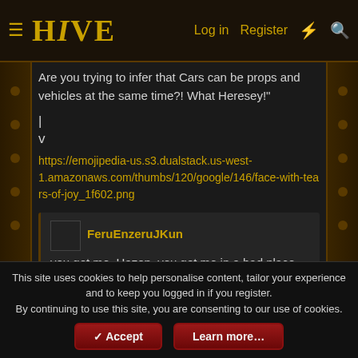HIVE — Log in | Register
Are you trying to infer that Cars can be props and vehicles at the same time?! What Heresey!"
|
v
https://emojipedia-us.s3.dualstack.us-west-1.amazonaws.com/thumbs/120/google/146/face-with-tears-of-joy_1f602.png
FeruEnzeruJKun — you got me, Hazop. you got me in a bad place. — Jul 13, 2019
Hazop — 😛 — Jul 13, 2019
This site uses cookies to help personalise content, tailor your experience and to keep you logged in if you register.
By continuing to use this site, you are consenting to our use of cookies.